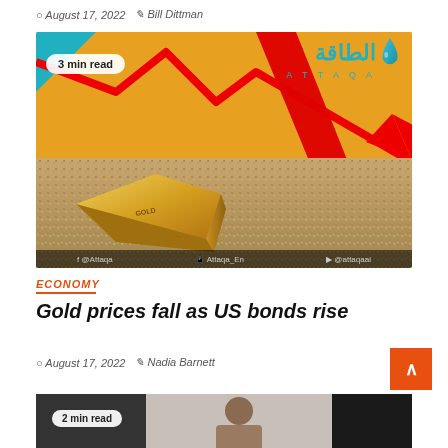August 17, 2022  Bill Dittman
[Figure (photo): Gold bar lying in sand with a large red downward arrow chart overlaid on an orange background, Attaqa media logo in Arabic and Latin script, teal corner accent, social media icons at bottom]
ECONOMY
Gold prices fall as US bonds rise
August 17, 2022  Nadia Barnett
[Figure (photo): Partial thumbnail of a second article showing a person, partially cropped, with dark panels on left and right sides, 2 min read badge]